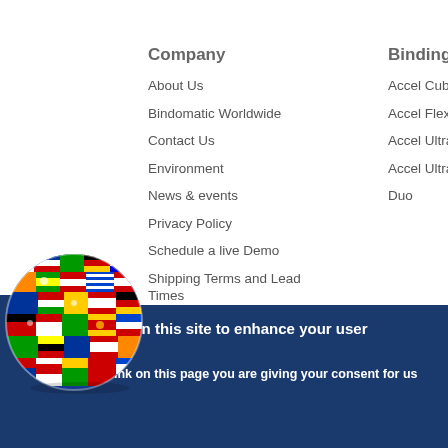Company
About Us
Bindomatic Worldwide
Contact Us
Environment
News & events
Privacy Policy
Schedule a live Demo
Shipping Terms and Lead Times
Testimonials
Binding Machines
Accel Cube
Accel Flex
Accel Ultra
Accel Ultra+
Duo
[Figure (illustration): Globe made of world flags]
ited
We use cookies on this site to enhance your user experience
By clicking any link on this page you are giving your consent for us to set cookies.